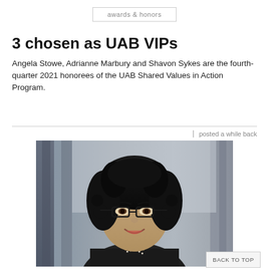awards & honors
3 chosen as UAB VIPs
Angela Stowe, Adrianne Marbury and Shavon Sykes are the fourth-quarter 2021 honorees of the UAB Shared Values in Action Program.
posted a while back
[Figure (photo): Portrait photo of a woman with dark curly hair, glasses, and a pearl necklace, smiling, wearing a dark top, photographed indoors with a blurred background.]
BACK TO TOP